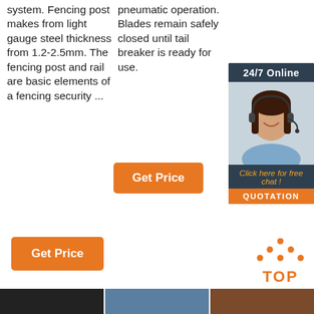system. Fencing post makes from light gauge steel thickness from 1.2-2.5mm. The fencing post and rail are basic elements of a fencing security ...
pneumatic operation. Blades remain safely closed until tail breaker is ready for use.
[Figure (photo): Customer service representative widget with '24/7 Online' header, woman wearing headset, 'Click here for free chat!' text, and orange QUOTATION button]
[Figure (other): Orange 'Get Price' button (middle column)]
[Figure (other): Orange 'Get Price' button (bottom left)]
[Figure (logo): TOP icon with orange dots forming triangle above orange TOP text]
[Figure (photo): Three small thumbnail images at bottom of page]